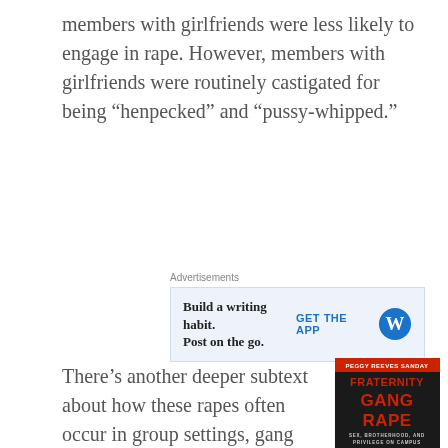members with girlfriends were less likely to engage in rape. However, members with girlfriends were routinely castigated for being “henpecked” and “pussy-whipped.”
[Figure (screenshot): Advertisement banner with light blue background showing 'Build a writing habit. Post on the go.' with WordPress logo and 'GET THE APP' call to action]
There’s another deeper subtext about how these rapes often occur in group settings, gang rapes, with brothers watching each other have sex with semi-conscious women, performing their
[Figure (photo): Book cover of 'Fraternity Gang Rape: Sex, Brotherhood, and Privilege on Campus' by Peggy Reeves Sanday. Dark background with large red text.]